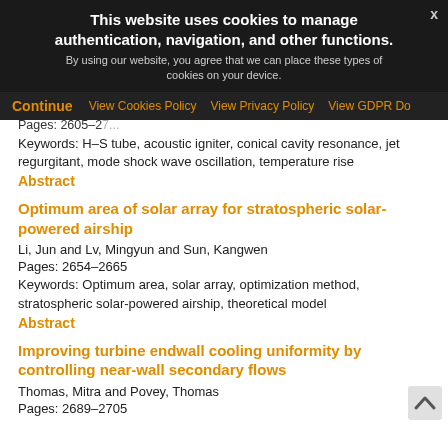This website uses cookies to manage authentication, navigation, and other functions. By using our website, you agree that we can place these types of cookies on your device.
Continue | View Cookies Policy | View Privacy Policy | View GDPR Do
Pages: 2605–27...
Keywords: H–S tube, acoustic igniter, conical cavity resonance, jet regurgitant, mode shock wave oscillation, temperature rise
Abstract
Optimum area of solar array for stratospheric solar-powered airship
Li, Jun and Lv, Mingyun and Sun, Kangwen
Pages: 2654–2665
Keywords: Optimum area, solar array, optimization method, stratospheric solar-powered airship, theoretical model
Abstract
Improving turbine endwall cooling uniformity by controlling near-wall secondary flows
Thomas, Mitra and Povey, Thomas
Pages: 2689–2705